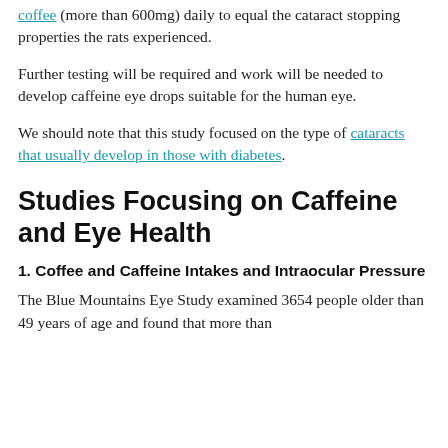coffee (more than 600mg) daily to equal the cataract stopping properties the rats experienced.
Further testing will be required and work will be needed to develop caffeine eye drops suitable for the human eye.
We should note that this study focused on the type of cataracts that usually develop in those with diabetes.
Studies Focusing on Caffeine and Eye Health
1. Coffee and Caffeine Intakes and Intraocular Pressure
The Blue Mountains Eye Study examined 3654 people older than 49 years of age and found that more than